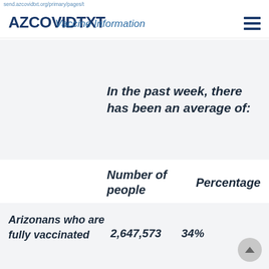send.azcovidtxt.org/primary/pages/t
AZCOVIDTXT Vaccine Information
In the past week, there has been an average of:
|  | Number of people | Percentage |
| --- | --- | --- |
| Arizonans who are fully vaccinated | 2,647,573 | 34% |